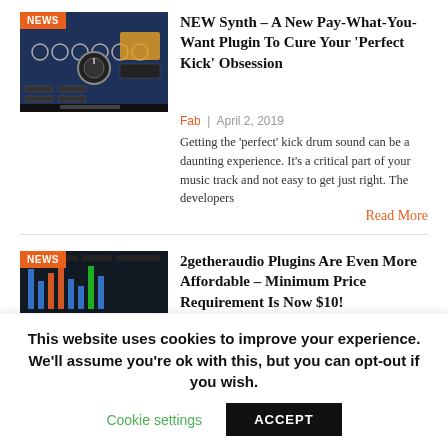[Figure (screenshot): Plugin synth UI screenshot with NEWS badge, blue interface with knobs and controls]
NEW Synth – A New Pay-What-You-Want Plugin To Cure Your 'Perfect Kick' Obsession
Fab  |  April 2, 2019
Getting the 'perfect' kick drum sound can be a daunting experience. It's a critical part of your music track and not easy to get just right. The developers
Read More
[Figure (screenshot): 2getheraudio plugin UI screenshot with NEWS badge, dark interface with mixer/sequencer]
2getheraudio Plugins Are Even More Affordable – Minimum Price Requirement Is Now $10!
Fab  |  February 6, 2019
A few months ago we introduced (and interviewed) 2getheraudio, a new software
This website uses cookies to improve your experience. We'll assume you're ok with this, but you can opt-out if you wish.
Cookie settings   ACCEPT